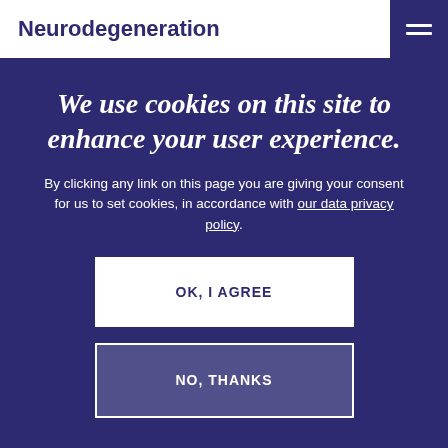Neurodegeneration
We use cookies on this site to enhance your user experience.
By clicking any link on this page you are giving your consent for us to set cookies, in accordance with our data privacy policy.
OK, I AGREE
NO, THANKS